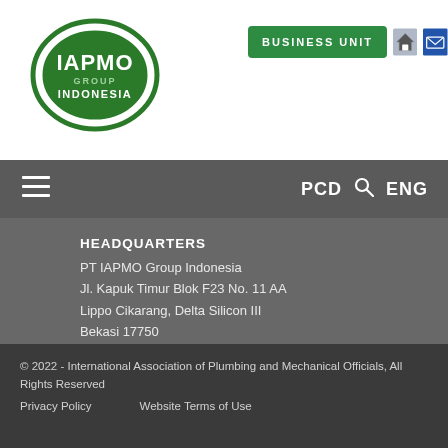[Figure (logo): IAPMO Group Indonesia oval logo in green and white]
[Figure (other): BUSINESS UNIT green button with home icon and mail icon]
[Figure (other): Navigation bar with hamburger menu, PCD with search icon, ENG]
HEADQUARTERS
PT IAPMO Group Indonesia
Jl. Kapuk Timur Blok F23 No. 11 AA
Lippo Cikarang, Delta Silicon III
Bekasi 17750
Jawa Barat - Indonesia
Phone: +62-21-89911467
Phone: +62-81-110-IAPMO (42766)
Fax: +62-21-89911468 ext. 115
E-mail: info@iapmoindonesia.org
Go to GoogleMap
© 2022 - International Association of Plumbing and Mechanical Officials, All Rights Reserved
Privacy Policy    Website Terms of Use